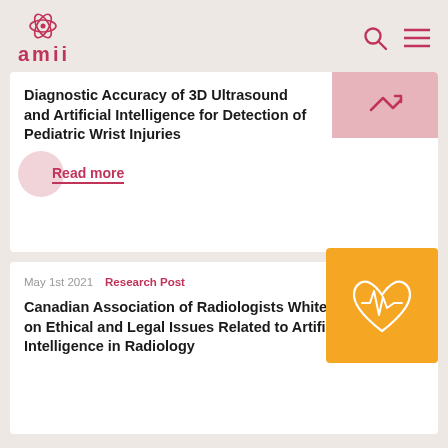[Figure (logo): AMII logo with atom/molecule icon and pink text]
Diagnostic Accuracy of 3D Ultrasound and Artificial Intelligence for Detection of Pediatric Wrist Injuries
Read more
May 1st 2021    Research Post
Canadian Association of Radiologists White Paper on Ethical and Legal Issues Related to Artificial Intelligence in Radiology